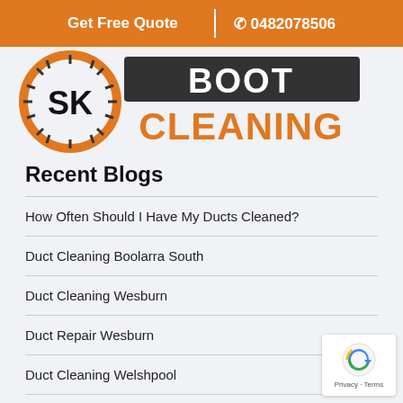Get Free Quote | 0482078506
[Figure (logo): SK Boot Cleaning company logo with orange circular design and bold text]
Recent Blogs
How Often Should I Have My Ducts Cleaned?
Duct Cleaning Boolarra South
Duct Cleaning Wesburn
Duct Repair Wesburn
Duct Cleaning Welshpool
Useful Links